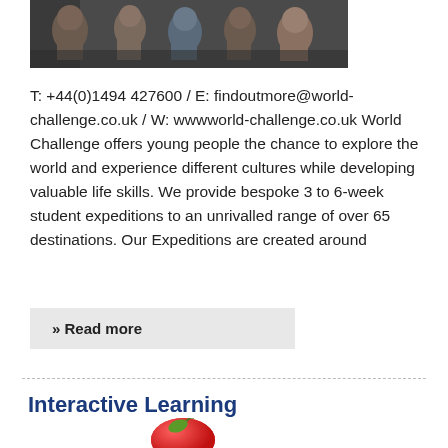[Figure (photo): Photograph of children looking up at camera]
T: +44(0)1494 427600 / E: findoutmore@world-challenge.co.uk / W: wwwworld-challenge.co.uk World Challenge offers young people the chance to explore the world and experience different cultures while developing valuable life skills. We provide bespoke 3 to 6-week student expeditions to an unrivalled range of over 65 destinations. Our Expeditions are created around
» Read more
Interactive Learning
[Figure (photo): Apple image partially visible at bottom of page]